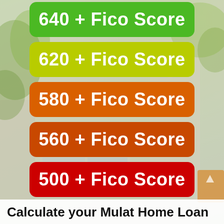[Figure (infographic): Background photo of building/apartment exterior with greenery, blurred]
640 + Fico Score
620 + Fico Score
580 + Fico Score
560 + Fico Score
500 + Fico Score
Calculate your Mulat Home Loan